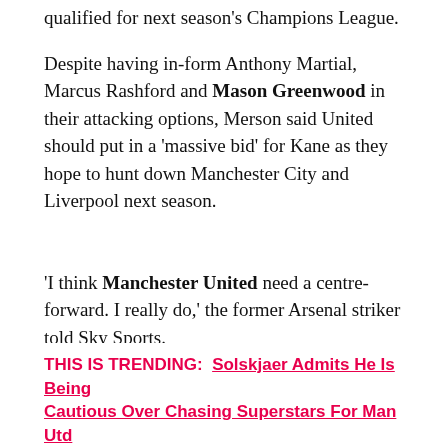qualified for next season's Champions League.
Despite having in-form Anthony Martial, Marcus Rashford and Mason Greenwood in their attacking options, Merson said United should put in a 'massive bid' for Kane as they hope to hunt down Manchester City and Liverpool next season.
'I think Manchester United need a centre-forward. I really do,' the former Arsenal striker told Sky Sports.
'And if they put in a massive bid for Harry Kane, they become massive players next season in the Premier League.
THIS IS TRENDING:  Solskjaer Admits He Is Being Cautious Over Chasing Superstars For Man Utd